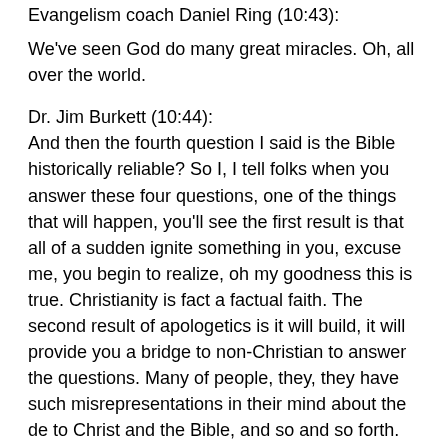Evangelism coach Daniel Ring (10:43):
We've seen God do many great miracles. Oh, all over the world.
Dr. Jim Burkett (10:44):
And then the fourth question I said is the Bible historically reliable? So I, I tell folks when you answer these four questions, one of the things that will happen, you'll see the first result is that all of a sudden ignite something in you, excuse me, you begin to realize, oh my goodness this is true. Christianity is fact a factual faith. The second result of apologetics is it will build, it will provide you a bridge to non-Christian to answer the questions. Many of people, they, they have such misrepresentations in their mind about the de to Christ and the Bible, and so and so forth.